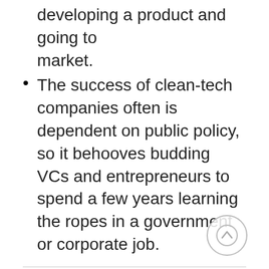developing a product and going to market.
The success of clean-tech companies often is dependent on public policy, so it behooves budding VCs and entrepreneurs to spend a few years learning the ropes in a government or corporate job.
[Figure (infographic): Social sharing buttons: Facebook (teal), Twitter (teal), LinkedIn (teal), Email (outlined with envelope icon)]
MBA students often fall into one of two categories—those hungry to rush into careers as venture capitalists, and those eager to found a venture-funded start-up. For all of them, Harvard Business School